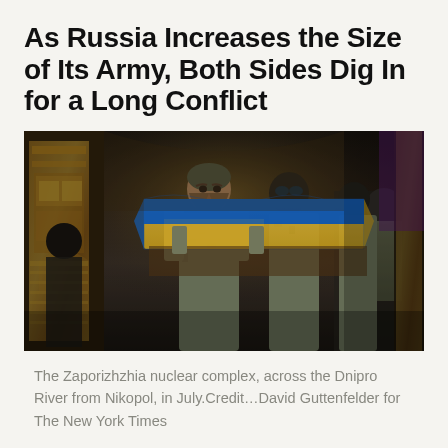As Russia Increases the Size of Its Army, Both Sides Dig In for a Long Conflict
[Figure (photo): Soldiers in camouflage military uniforms carrying a coffin draped with a blue and yellow Ukrainian flag inside an ornate church with golden iconostasis. Several soldiers visible, one facing camera with beard, others wearing balaclavas. Dark dramatic lighting.]
The Zaporizhzhia nuclear complex, across the Dnipro River from Nikopol, in July.Credit…David Guttenfelder for The New York Times